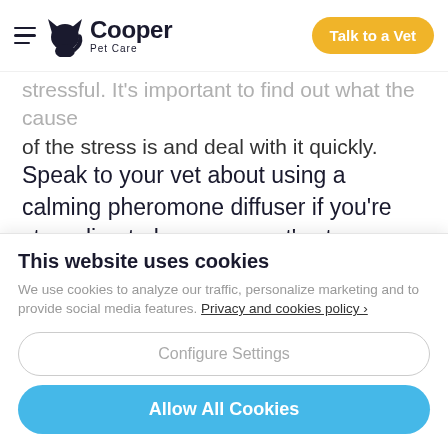Cooper Pet Care — Talk to a Vet
stressful. It's important to find out what the cause of the stress is and deal with it quickly.
Speak to your vet about using a calming pheromone diffuser if you're struggling to keep your cat's stress under control.
This website uses cookies
We use cookies to analyze our traffic, personalize marketing and to provide social media features. Privacy and cookies policy ›
Configure Settings
Allow All Cookies